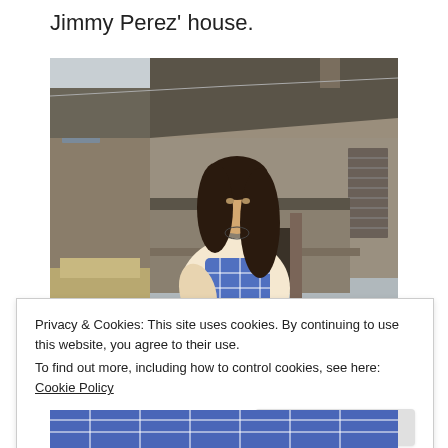Jimmy Perez' house.
[Figure (photo): A young woman with long dark hair wearing a blue and white patterned sleeveless top, standing in front of a rustic stone building with a slate roof, wires overhead, and a wooden post nearby. Overcast sky in background.]
Privacy & Cookies: This site uses cookies. By continuing to use this website, you agree to their use.
To find out more, including how to control cookies, see here: Cookie Policy
[Figure (photo): Bottom strip of another photo showing blue and white patterned fabric, cropped.]